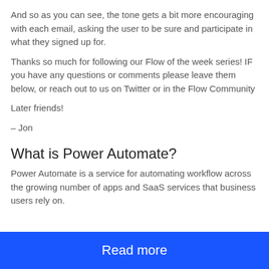And so as you can see, the tone gets a bit more encouraging with each email, asking the user to be sure and participate in what they signed up for.
Thanks so much for following our Flow of the week series! IF you have any questions or comments please leave them below, or reach out to us on Twitter or in the Flow Community
Later friends!
– Jon
What is Power Automate?
Power Automate is a service for automating workflow across the growing number of apps and SaaS services that business users rely on.
Read more